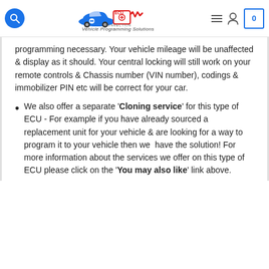ECU Connection - Vehicle Programming Solutions
programming necessary. Your vehicle mileage will be unaffected & display as it should. Your central locking will still work on your remote controls & Chassis number (VIN number), codings & immobilizer PIN etc will be correct for your car.
We also offer a separate 'Cloning service' for this type of ECU - For example if you have already sourced a replacement unit for your vehicle & are looking for a way to program it to your vehicle then we have the solution! For more information about the services we offer on this type of ECU please click on the 'You may also like' link above.